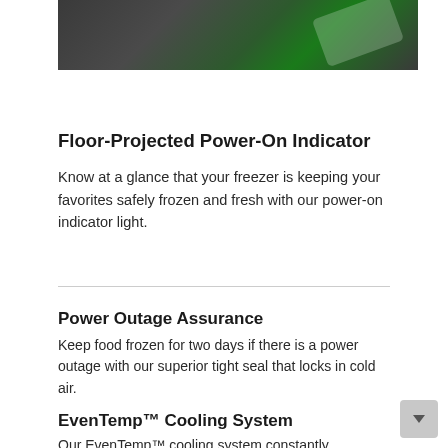[Figure (photo): Close-up photo of a green power-on indicator light glowing on a dark surface, likely the floor projection from a freezer.]
Floor-Projected Power-On Indicator
Know at a glance that your freezer is keeping your favorites safely frozen and fresh with our power-on indicator light.
Power Outage Assurance
Keep food frozen for two days if there is a power outage with our superior tight seal that locks in cold air.
EvenTemp™ Cooling System
Our EvenTemp™ cooling system constantly circulates